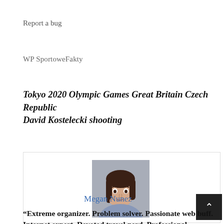Report a bug
WP SportoweFakty
Tokyo 2020 Olympic Games Great Britain Czech Republic David Kostelecki shooting
[Figure (photo): Portrait photo of a young woman with long dark hair, hand near mouth, surprised expression, gray background]
Megan Nunez
“Extreme organizer. Problem solver. Passionate web buff. Internet expert. Devoted travel nerd. Professional